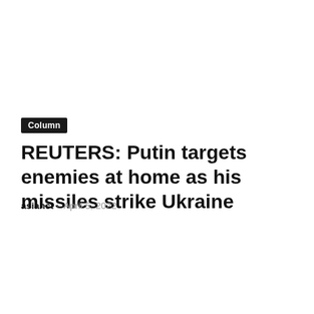Column
REUTERS: Putin targets enemies at home as his missiles strike Ukraine
asianct · April 5, 2022